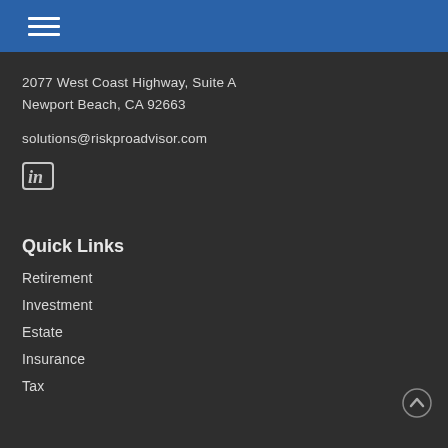Navigation menu icon (hamburger)
2077 West Coast Highway, Suite A
Newport Beach, CA 92663
solutions@riskproadvisor.com
[Figure (logo): LinkedIn social media icon]
Quick Links
Retirement
Investment
Estate
Insurance
Tax